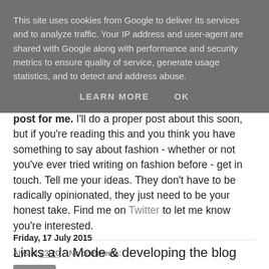This site uses cookies from Google to deliver its services and to analyze traffic. Your IP address and user-agent are shared with Google along with performance and security metrics to ensure quality of service, generate usage statistics, and to detect and address abuse.
LEARN MORE    OK
post for me. I'll do a proper post about this soon, but if you're reading this and you think you have something to say about fashion - whether or not you've ever tried writing on fashion before - get in touch. Tell me your ideas. They don't have to be radically opinionated, they just need to be your honest take. Find me on Twitter to let me know you're interested.
Alys at 23:20    No comments:
Share
Friday, 17 July 2015
Links a la Mode & developing the blog